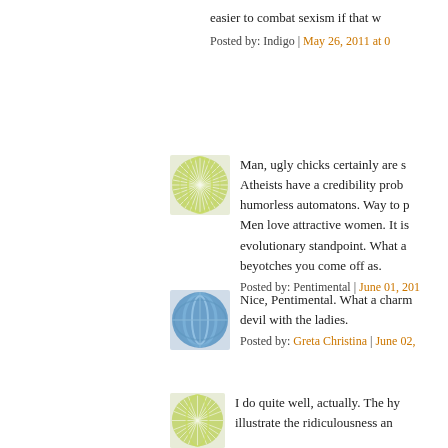easier to combat sexism if that w...
Posted by: Indigo | May 26, 2011 at 0...
[Figure (illustration): Green radial starburst avatar image]
Man, ugly chicks certainly are s... Atheists have a credibility prob... humorless automatons. Way to p... Men love attractive women. It is... evolutionary standpoint. What a... beyotches you come off as.
Posted by: Pentimental | June 01, 201...
[Figure (illustration): Blue oval/leaf pattern avatar image]
Nice, Pentimental. What a charm... devil with the ladies.
Posted by: Greta Christina | June 02, ...
[Figure (illustration): Green radial starburst avatar image]
I do quite well, actually. The hy... illustrate the ridiculousness an...